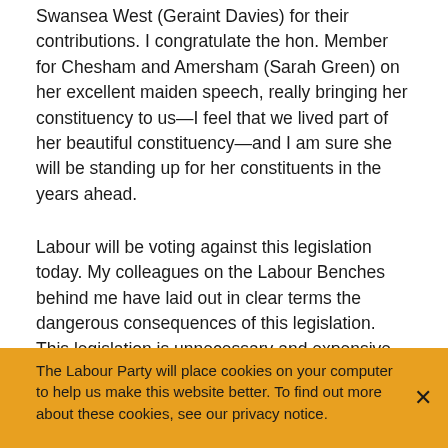Swansea West (Geraint Davies) for their contributions. I congratulate the hon. Member for Chesham and Amersham (Sarah Green) on her excellent maiden speech, really bringing her constituency to us—I feel that we lived part of her beautiful constituency—and I am sure she will be standing up for her constituents in the years ahead.
Labour will be voting against this legislation today. My colleagues on the Labour Benches behind me have laid out in clear terms the dangerous consequences of this legislation. This legislation is unnecessary and expensive, costing £120 million over the next 10 years—at least. It will have a chilling effect on democracy and it is an attack on free and fair campaigning. This legislation will see legitimate voters turned away from polling stations and
The Labour Party will place cookies on your computer to help us make this website better. To find out more about these cookies, see our privacy notice.